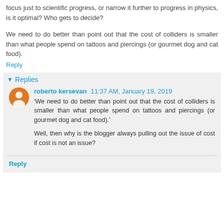focus just to scientific progress, or narrow it further to progress in physics, is it optimal? Who gets to decide?
We need to do better than point out that the cost of colliders is smaller than what people spend on tattoos and piercings (or gourmet dog and cat food).
Reply
Replies
roberto kersevan  11:37 AM, January 19, 2019
'We need to do better than point out that the cost of colliders is smaller than what people spend on tattoos and piercings (or gourmet dog and cat food).'

Well, then why is the blogger always pulling out the issue of cost if cost is not an issue?
Reply